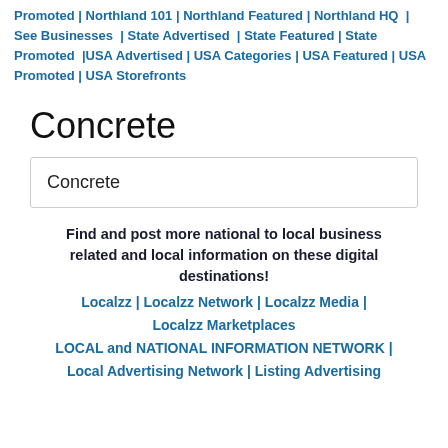Promoted | Northland 101 | Northland Featured | Northland HQ | See Businesses | State Advertised | State Featured | State Promoted | USA Advertised | USA Categories | USA Featured | USA Promoted | USA Storefronts
Concrete
Concrete
Find and post more national to local business related and local information on these digital destinations!
Localzz | Localzz Network | Localzz Media | Localzz Marketplaces LOCAL and NATIONAL INFORMATION NETWORK | Local Advertising Network | Listing Advertising